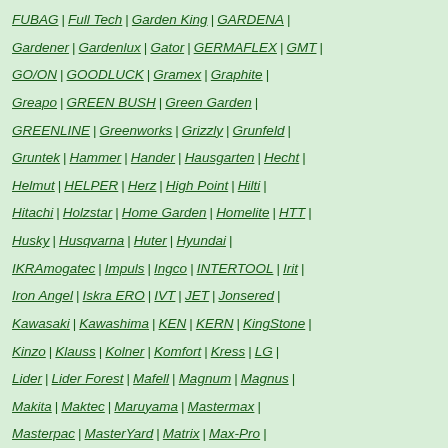FUBAG | Full Tech | Garden King | GARDENA | Gardener | Gardenlux | Gator | GERMAFLEX | GMT | GO/ON | GOODLUCK | Gramex | Graphite | Greapo | GREEN BUSH | Green Garden | GREENLINE | Greenworks | Grizzly | Grunfeld | Gruntek | Hammer | Hander | Hausgarten | Hecht | Helmut | HELPER | Herz | High Point | Hilti | Hitachi | Holzstar | Home Garden | Homelite | HTT | Husky | Husqvarna | Huter | Hyundai | IKRAmogatec | Impuls | Ingco | INTERTOOL | Irit | Iron Angel | Iskra ERO | IVT | JET | Jonsered | Kawasaki | Kawashima | KEN | KERN | KingStone | Kinzo | Klauss | Kolner | Komfort | Kress | LG | Lider | Lider Forest | Mafell | Magnum | Magnus | Makita | Maktec | Maruyama | Mastermax | Masterpac | MasterYard | Matrix | Max-Pro | MAXCut | McCULLOCH | MEGA | Messer | Metabo | MetalMaster | Metaltool | Milwaukee | Monferme | MTD | Nikkey | Norton | ...